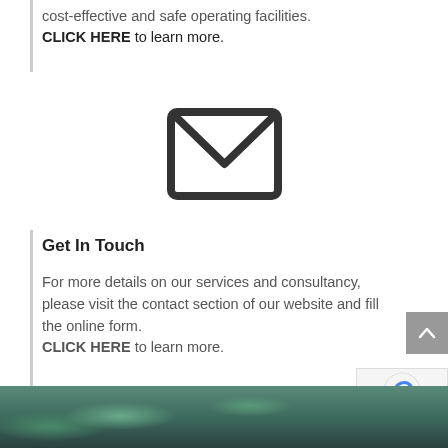cost-effective and safe operating facilities. CLICK HERE to learn more.
[Figure (illustration): Email envelope icon — dark grey outlined envelope with V-shaped flap]
Get In Touch
For more details on our services and consultancy, please visit the contact section of our website and fill the online form. CLICK HERE to learn more.
[Figure (photo): Aerial landscape photograph showing green terrain with a river or waterway winding through it]